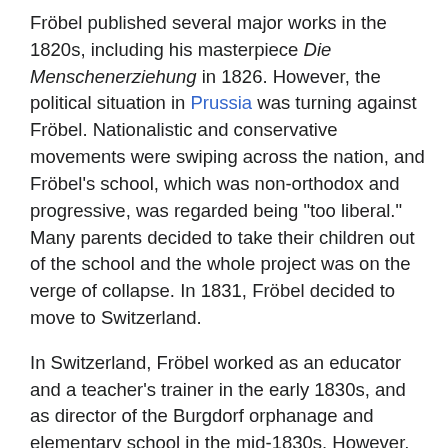Fröbel published several major works in the 1820s, including his masterpiece Die Menschenerziehung in 1826. However, the political situation in Prussia was turning against Fröbel. Nationalistic and conservative movements were swiping across the nation, and Fröbel's school, which was non-orthodox and progressive, was regarded being "too liberal." Many parents decided to take their children out of the school and the whole project was on the verge of collapse. In 1831, Fröbel decided to move to Switzerland.
In Switzerland, Fröbel worked as an educator and a teacher's trainer in the early 1830s, and as director of the Burgdorf orphanage and elementary school in the mid-1830s. However, he had to change his plans again and return to Germany due to his wife's ill health.
In this last part of his career Fröbel started to develop his ideas about a kindergarten and constructed educational